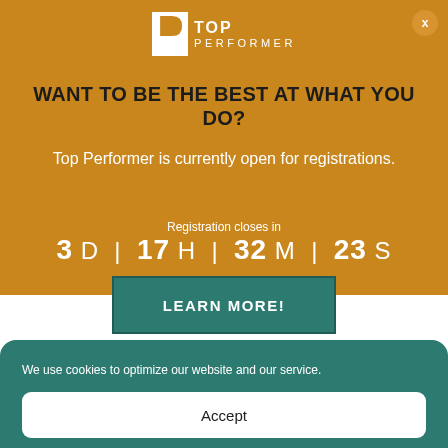[Figure (logo): Top Performer logo with white P icon and TOP PERFORMER text]
WANT TO BE THE BEST AT WHAT YOU DO?
Top Performer is currently open for registrations.
Registration closes in
3 D | 17 H | 32 M | 23 S
LEARN MORE!
We use cookies to optimize our website and our service.
Accept
Cookie Policy  Privacy Policy